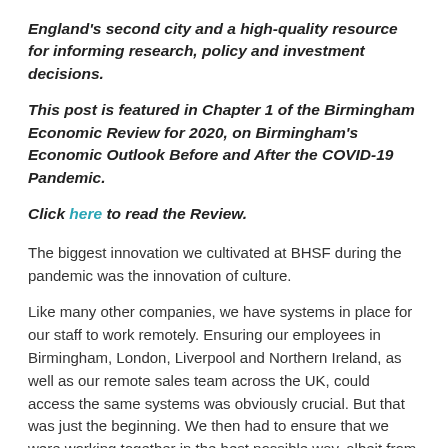England's second city and a high-quality resource for informing research, policy and investment decisions.
This post is featured in Chapter 1 of the Birmingham Economic Review for 2020, on Birmingham's Economic Outlook Before and After the COVID-19 Pandemic.
Click here to read the Review.
The biggest innovation we cultivated at BHSF during the pandemic was the innovation of culture.
Like many other companies, we have systems in place for our staff to work remotely. Ensuring our employees in Birmingham, London, Liverpool and Northern Ireland, as well as our remote sales team across the UK, could access the same systems was obviously crucial. But that was just the beginning. We then had to ensure that we were working together in the best possible way, albeit from